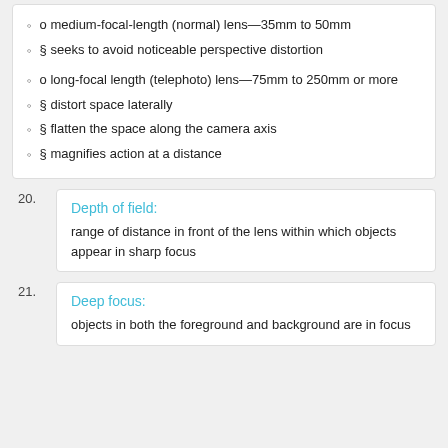o medium-focal-length (normal) lens—35mm to 50mm
§ seeks to avoid noticeable perspective distortion
o long-focal length (telephoto) lens—75mm to 250mm or more
§ distort space laterally
§ flatten the space along the camera axis
§ magnifies action at a distance
Depth of field:
range of distance in front of the lens within which objects appear in sharp focus
Deep focus:
objects in both the foreground and background are in focus